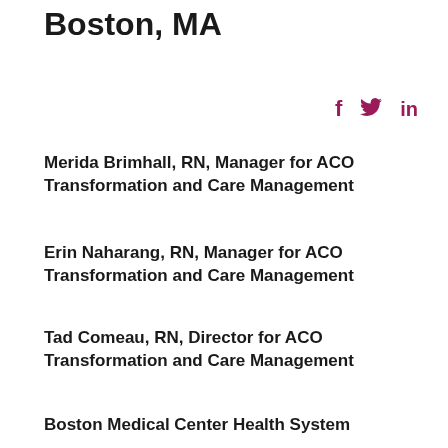Boston, MA
[Figure (other): Social media icons: Facebook (f), Twitter (bird), LinkedIn (in) in dark pink/maroon color]
Merida Brimhall, RN, Manager for ACO Transformation and Care Management
Erin Naharang, RN, Manager for ACO Transformation and Care Management
Tad Comeau, RN, Director for ACO Transformation and Care Management
Boston Medical Center Health System
Boston, MA